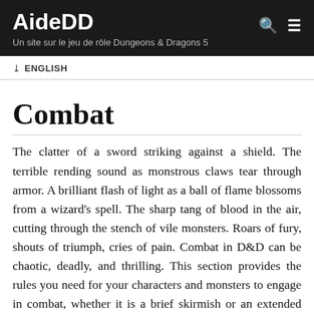AideDD — Un site sur le jeu de rôle Dungeons & Dragons 5
ENGLISH
Combat
The clatter of a sword striking against a shield. The terrible rending sound as monstrous claws tear through armor. A brilliant flash of light as a ball of flame blossoms from a wizard's spell. The sharp tang of blood in the air, cutting through the stench of vile monsters. Roars of fury, shouts of triumph, cries of pain. Combat in D&D can be chaotic, deadly, and thrilling. This section provides the rules you need for your characters and monsters to engage in combat, whether it is a brief skirmish or an extended conflict in a dungeon or on a field of battle. Throughout this section, the rules address you, the player or Dungeon Master. The Dungeon Master controls all